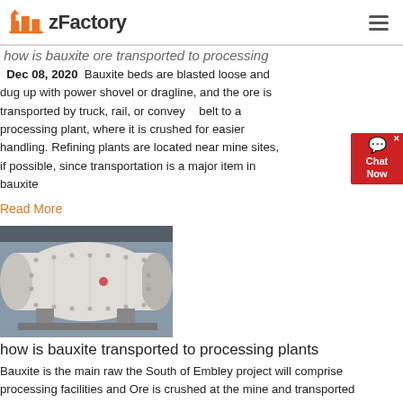zFactory
how is bauxite ore transported to processing
Dec 08, 2020  Bauxite beds are blasted loose and dug up with power shovel or dragline, and the ore is transported by truck, rail, or conveyor belt to a processing plant, where it is crushed for easier handling. Refining plants are located near mine sites, if possible, since transportation is a major item in bauxite
Read More
[Figure (photo): Industrial cylindrical mill or grinding machine in a factory/processing plant setting, white cylindrical vessel with bolted panels]
how is bauxite transported to processing plants
Bauxite is the main raw the South of Embley project will comprise processing facilities and Ore is crushed at the mine and transported overland via a 50NaturalGas org Overview of the complete processing of natural gas takes place at a processing plant, The extracted natural gas is